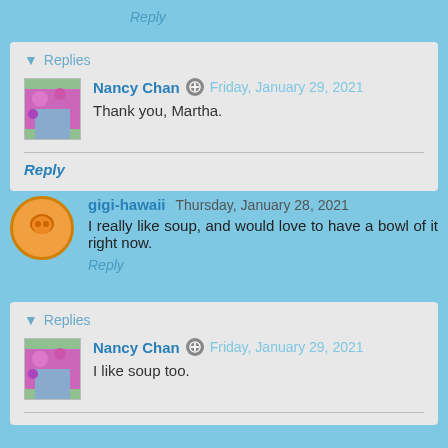Reply
▼ Replies
Nancy Chan  Friday, January 29, 2021
Thank you, Martha.
Reply
gigi-hawaii  Thursday, January 28, 2021
I really like soup, and would love to have a bowl of it right now.
Reply
▼ Replies
Nancy Chan  Friday, January 29, 2021
I like soup too.